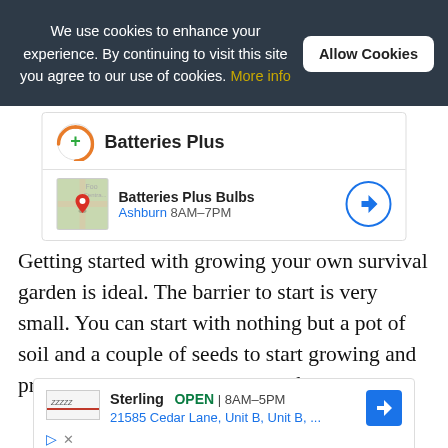We use cookies to enhance your experience. By continuing to visit this site you agree to our use of cookies. More info
[Figure (screenshot): Batteries Plus ad card with orange/green logo, store name, map thumbnail, Ashburn location, hours 8AM-7PM, and directions button]
Getting started with growing your own survival garden is ideal. The barrier to start is very small. You can start with nothing but a pot of soil and a couple of seeds to start growing and producing good natural healthy food.
[Figure (screenshot): Sterling Batteries Plus Bulbs ad card showing OPEN 8AM-5PM, address 21585 Cedar Lane, Unit B, Unit B, ... with directions button and ad controls]